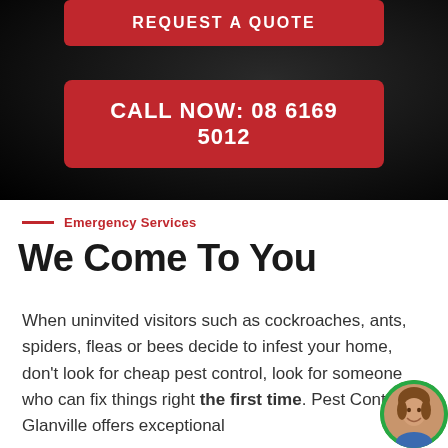REQUEST A QUOTE
CALL NOW: 08 6169 5012
Emergency Services
We Come To You
When uninvited visitors such as cockroaches, ants, spiders, fleas or bees decide to infest your home, don't look for cheap pest control, look for someone who can fix things right the first time. Pest Control Glanville offers exceptional
[Figure (photo): Circular avatar photo of a smiling woman with a green border, positioned bottom-right corner]